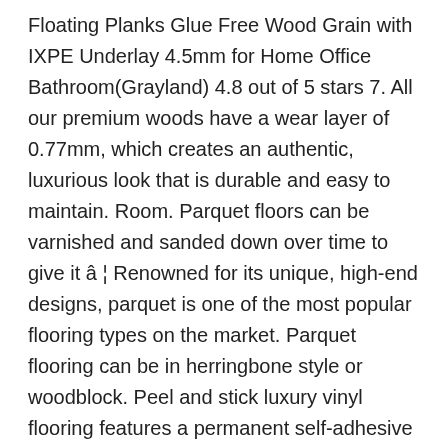Floating Planks Glue Free Wood Grain with IXPE Underlay 4.5mm for Home Office Bathroom(Grayland) 4.8 out of 5 stars 7. All our premium woods have a wear layer of 0.77mm, which creates an authentic, luxurious look that is durable and easy to maintain. Room. Parquet floors can be varnished and sanded down over time to give it â¦ Renowned for its unique, high-end designs, parquet is one of the most popular flooring types on the market. Parquet flooring can be in herringbone style or woodblock. Peel and stick luxury vinyl flooring features a permanent self-adhesive backing, which is a great option for quick and easy installation. Parquet wood flooring is a traditional type of wood floor with a timeless style that has been moved into the spotlight recently. Parquet flooring is comprised on individual wood blocks that form a pattern. Supplied in 9" x 3" wood effect planks. LG Harmony Parquet floors are stickdown format and will require adhesive. In comparison to tiles or to the laminate, this is also quite true.But real wood always feels warmer than plastic-based vinyl. Request a call back from Parquet Flooring. Achim Home Furnishings